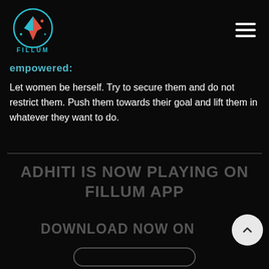[Figure (logo): Fillum app logo — a star shape with red and blue/teal arrow-like points inside a teal circle, with 'FILLUM' text below in teal]
empowered:
Let women be herself. Try to secure them and do not restrict them. Push them towards their goal and lift them in whatever they want to do.
ADHITI IS NOW PLAYING ON FILLUM APP
DOWNLOAD NOW ON